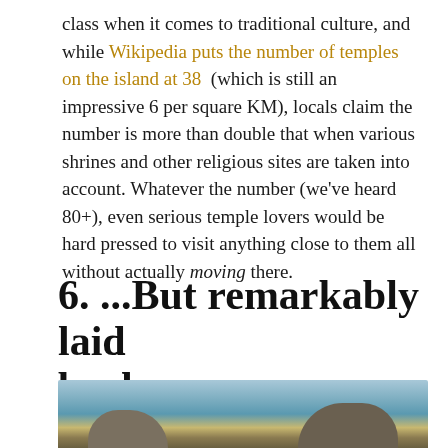class when it comes to traditional culture, and while Wikipedia puts the number of temples on the island at 38 (which is still an impressive 6 per square KM), locals claim the number is more than double that when various shrines and other religious sites are taken into account. Whatever the number (we've heard 80+), even serious temple lovers would be hard pressed to visit anything close to them all without actually moving there.
6. ...But remarkably laid back.
[Figure (photo): Coastal scene with rocky outcroppings and calm blue water under a light sky]